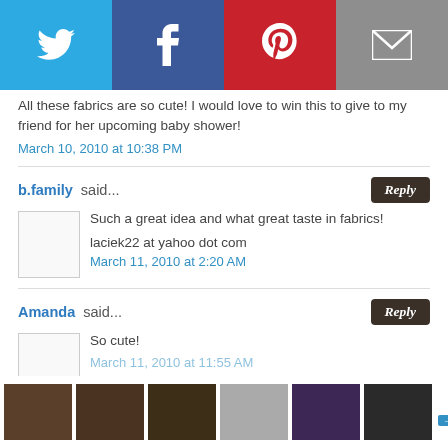[Figure (infographic): Social share bar with Twitter, Facebook, Pinterest, and Email icons]
All these fabrics are so cute! I would love to win this to give to my friend for her upcoming baby shower!
March 10, 2010 at 10:38 PM
b.family said...
Such a great idea and what great taste in fabrics!
laciek22 at yahoo dot com
March 11, 2010 at 2:20 AM
Amanda said...
So cute!
March 11, 2010 at 11:55 AM
[Figure (screenshot): Advertisement bar with thumbnail images of studio/radio show scenes]